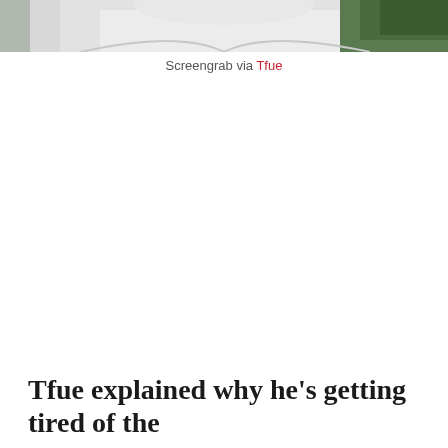[Figure (photo): Cropped photo of a person wearing a white hoodie, with trees and hills visible in the background. Only the lower face/chin and shoulders are visible.]
Screengrab via Tfue
Tfue explained why he's getting tired of the